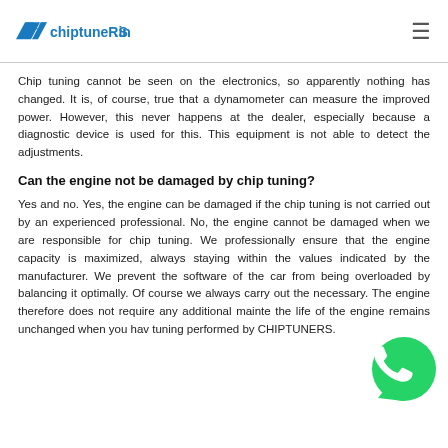chiptuneRS.in
Chip tuning cannot be seen on the electronics, so apparently nothing has changed. It is, of course, true that a dynamometer can measure the improved power. However, this never happens at the dealer, especially because a diagnostic device is used for this. This equipment is not able to detect the adjustments.
Can the engine not be damaged by chip tuning?
Yes and no. Yes, the engine can be damaged if the chip tuning is not carried out by an experienced professional. No, the engine cannot be damaged when we are responsible for chip tuning. We professionally ensure that the engine capacity is maximized, always staying within the values indicated by the manufacturer. We prevent the software of the car from being overloaded by balancing it optimally. Of course we always carry out the necessary. The engine therefore does not require any additional mainte the life of the engine remains unchanged when you hav tuning performed by CHIPTUNERS.
[Figure (illustration): WhatsApp contact button: green circular icon with white phone handset symbol]